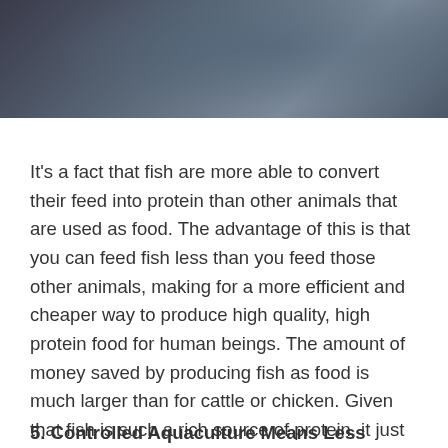[Figure (photo): Photograph of a person near water, dark tones with blue-grey hues, cropped to show upper body area]
It's a fact that fish are more able to convert their feed into protein than other animals that are used as food. The advantage of this is that you can feed fish less than you feed those other animals, making for a more efficient and cheaper way to produce high quality, high protein food for human beings. The amount of money saved by producing fish as food is much larger than for cattle or chicken. Given that fish is such a rich source of protein, it just makes good sense that it's important to create aquacultures in order to produce more fish. Since less energy is used to produce food, it also means a healthier environment.
5. Controlled Aquaculture Means Less Interference